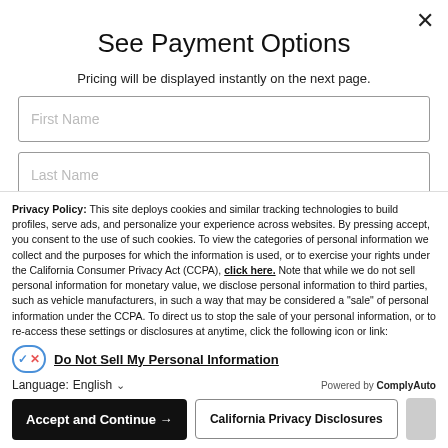See Payment Options
Pricing will be displayed instantly on the next page.
First Name
Last Name
Privacy Policy: This site deploys cookies and similar tracking technologies to build profiles, serve ads, and personalize your experience across websites. By pressing accept, you consent to the use of such cookies. To view the categories of personal information we collect and the purposes for which the information is used, or to exercise your rights under the California Consumer Privacy Act (CCPA), click here. Note that while we do not sell personal information for monetary value, we disclose personal information to third parties, such as vehicle manufacturers, in such a way that may be considered a "sale" of personal information under the CCPA. To direct us to stop the sale of your personal information, or to re-access these settings or disclosures at anytime, click the following icon or link:
Do Not Sell My Personal Information
Language: English
Powered by ComplyAuto
Accept and Continue →
California Privacy Disclosures